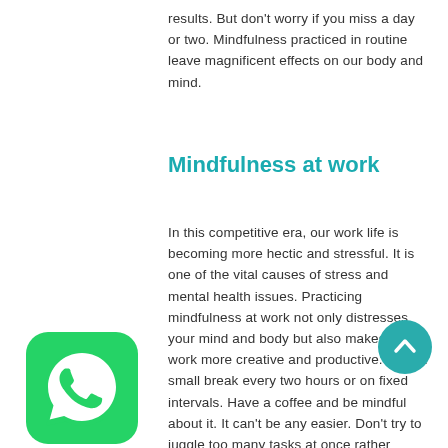results. But don't worry if you miss a day or two. Mindfulness practiced in routine leave magnificent effects on our body and mind.
Mindfulness at work
In this competitive era, our work life is becoming more hectic and stressful. It is one of the vital causes of stress and mental health issues. Practicing mindfulness at work not only distresses your mind and body but also makes your work more creative and productive. Take a small break every two hours or on fixed intervals. Have a coffee and be mindful about it. It can't be any easier. Don't try to juggle too many tasks at once rather complete your tasks one at a time. Multi-tasking decreases your productivity. Therefore practice mindfulness for better work relationships and more job satisfaction.
[Figure (logo): WhatsApp logo icon — green rounded square with white phone handset in speech bubble]
[Figure (other): Teal circular scroll-to-top button with upward chevron arrow]